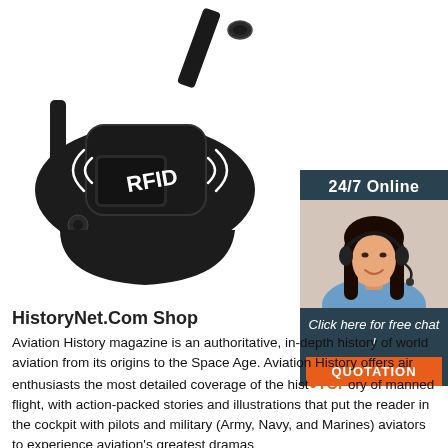[Figure (photo): Black RFID wristband/wearable device with '(RFID)' text on the face, shown at an angle against a white background]
[Figure (photo): Sidebar advertisement with dark teal background showing '24/7 Online' header, photo of a woman with a headset smiling, text 'Click here for free chat!' and an orange 'QUOTATION' button]
HistoryNet.Com Shop
Aviation History magazine is an authoritative, in-depth history of world aviation from its origins to the Space Age. Aviation History offers air enthusiasts the most detailed coverage of the history of manned flight, with action-packed stories and illustrations that put the reader in the cockpit with pilots and military (Army, Navy, and Marines) aviators to experience aviation's greatest dramas